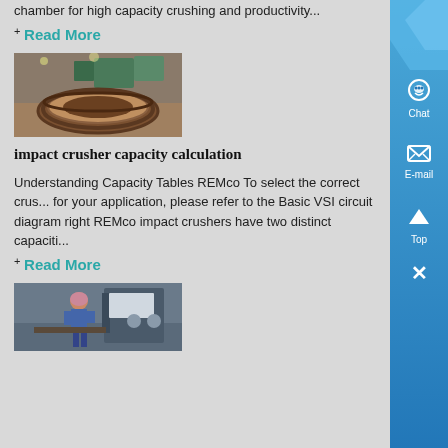chamber for high capacity crushing and productivity...
+ Read More
[Figure (photo): Large circular metal crushing chamber ring on industrial floor]
impact crusher capacity calculation
Understanding Capacity Tables REMco To select the correct crusher for your application, please refer to the Basic VSI circuit diagram right REMco impact crushers have two distinct capaciti...
+ Read More
[Figure (photo): Worker in blue suit operating industrial machinery in factory]